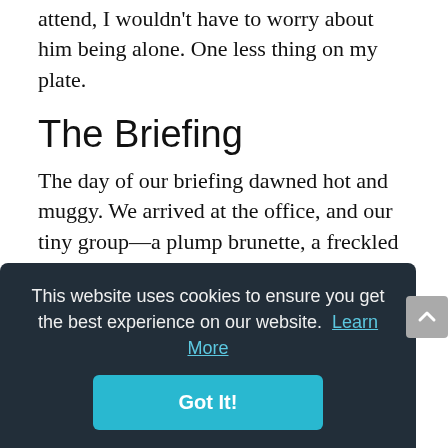attend, I wouldn't have to worry about him being alone. One less thing on my plate.
The Briefing
The day of our briefing dawned hot and muggy. We arrived at the office, and our tiny group—a plump brunette, a freckled redhead who never stopped fanning and wiping her brow, my husband and me—are ushered by the
the doctor spoke. He said, "All medical
This website uses cookies to ensure you get the best experience on our website. Learn More
Got It!